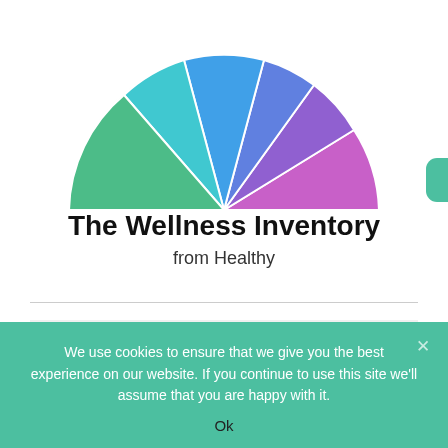[Figure (pie-chart): Colorful wellness wheel/pie chart with multiple segments in green, yellow, orange, red, pink, purple, blue, and teal colors, partially cropped at top]
The Wellness Inventory
from Healthy
TOP POSTS & PAGES
We use cookies to ensure that we give you the best experience on our website. If you continue to use this site we'll assume that you are happy with it.
Ok